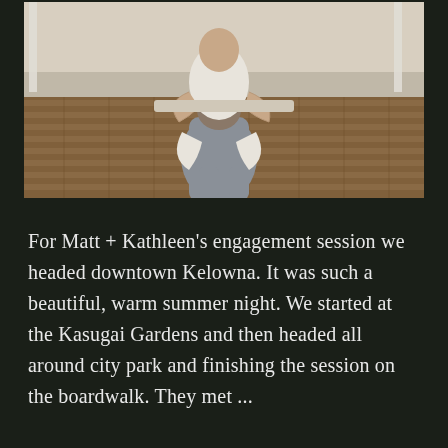[Figure (photo): A couple embracing on a wooden boardwalk. The woman is sitting on a railing and the man stands in front of her, she has her arms and legs wrapped around him. Background shows wooden deck planks and structural poles. Warm, romantic outdoor setting.]
For Matt + Kathleen's engagement session we headed downtown Kelowna. It was such a beautiful, warm summer night. We started at the Kasugai Gardens and then headed all around city park and finishing the session on the boardwalk. They met ...